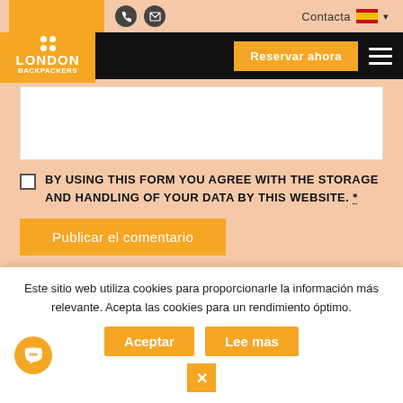[Figure (screenshot): London Backpackers website header with orange logo, phone and email icons, Contacta link with Spanish flag, Reservar ahora orange button, hamburger menu]
BY USING THIS FORM YOU AGREE WITH THE STORAGE AND HANDLING OF YOUR DATA BY THIS WEBSITE. *
Publicar el comentario
Este sitio web utiliza cookies para proporcionarle la información más relevante. Acepta las cookies para un rendimiento óptimo.
Aceptar
Lee mas